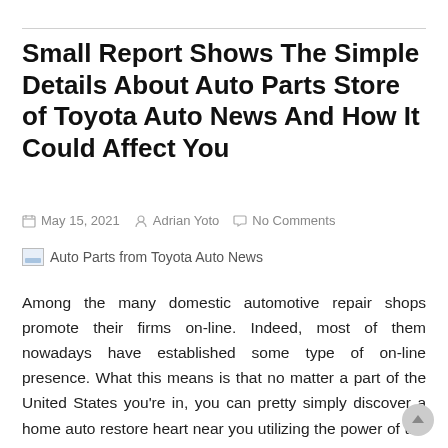Small Report Shows The Simple Details About Auto Parts Store of Toyota Auto News And How It Could Affect You
May 15, 2021   Adrian Yoto   No Comments
[Figure (photo): Auto Parts from Toyota Auto News image placeholder]
Auto Parts from Toyota Auto News
Among the many domestic automotive repair shops promote their firms on-line. Indeed, most of them nowadays have established some type of on-line presence. What this means is that no matter a part of the United States you're in, you can pretty simply discover a home auto restore heart near you utilizing the power of the Internet.